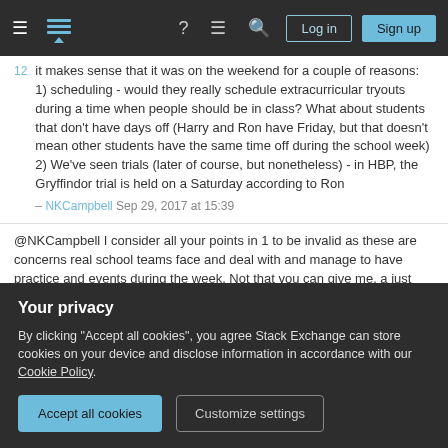Stack Exchange navigation bar with hamburger menu, logo, help, chat, search icons, Log in and Sign up buttons
it makes sense that it was on the weekend for a couple of reasons: 1) scheduling - would they really schedule extracurricular tryouts during a time when people should be in class? What about students that don't have days off (Harry and Ron have Friday, but that doesn't mean other students have the same time off during the school week) 2) We've seen trials (later of course, but nonetheless) - in HBP, the Gryffindor trial is held on a Saturday according to Ron – NKCampbell Sep 29, 2017 at 15:39
@NKCampbell I consider all your points in 1 to be invalid as these are concerns real school teams face and deal with and manage to have practice and events during the week. Not that you can give me, a just you could have trials after classes end for everyone,
Your privacy
By clicking "Accept all cookies", you agree Stack Exchange can store cookies on your device and disclose information in accordance with our Cookie Policy.
Accept all cookies   Customize settings